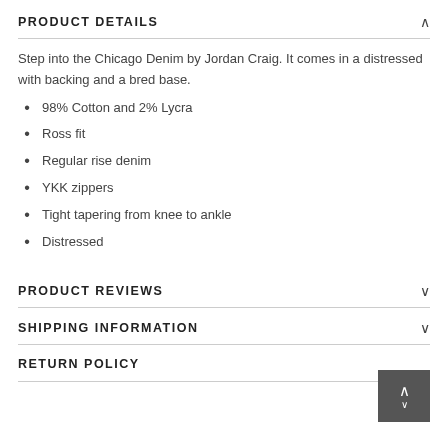PRODUCT DETAILS
Step into the Chicago Denim by Jordan Craig. It comes in a distressed with backing and a bred base.
98% Cotton and 2% Lycra
Ross fit
Regular rise denim
YKK zippers
Tight tapering from knee to ankle
Distressed
PRODUCT REVIEWS
SHIPPING INFORMATION
RETURN POLICY